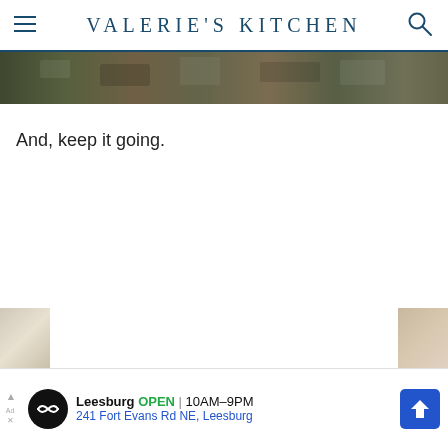VALERIE'S KITCHEN
[Figure (photo): Cropped hero image strip showing outdoor/food photography with warm earthy tones]
And, keep it going.
[Figure (infographic): Advertisement banner: Leesburg OPEN 10AM-9PM, 241 Fort Evans Rd NE, Leesburg with logo and navigation icon]